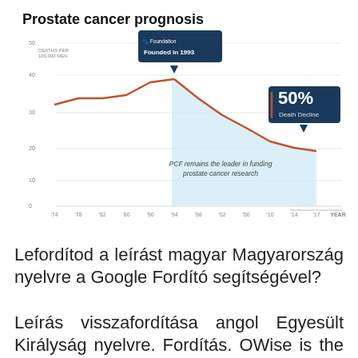[Figure (area-chart): Line/area chart showing prostate cancer death rate per 100,000 men from 1974 to 2017. Peak around 1993 (~39), then decline of ~50% by 2017. Annotated with PCF Foundation founded in 1993 and 50% Death Decline callout.]
Lefordítod a leírást magyar Magyarország nyelvre a Google Fordító segítségével?
Leírás visszafordítása angol Egyesült Királyság nyelvre. Fordítás. OWise is the multi-award